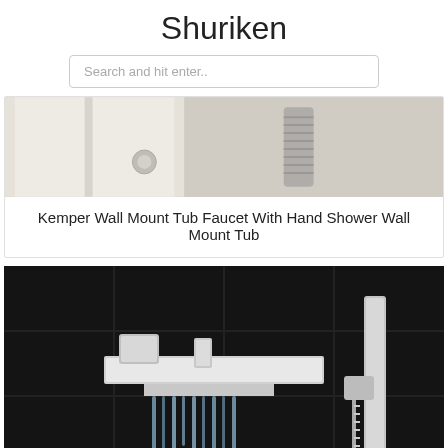Shuriken
Search and hit enter..
[Figure (photo): Wall mount tub faucet with hand shower, light/beige background showing chrome shower hose and fixtures]
Kemper Wall Mount Tub Faucet With Hand Shower Wall Mount Tub
[Figure (photo): Modern chrome waterfall wall-mounted bathtub faucet with hand shower against black tile wall]
Pin On Wall Mounted Bathtub Faucets Ideas